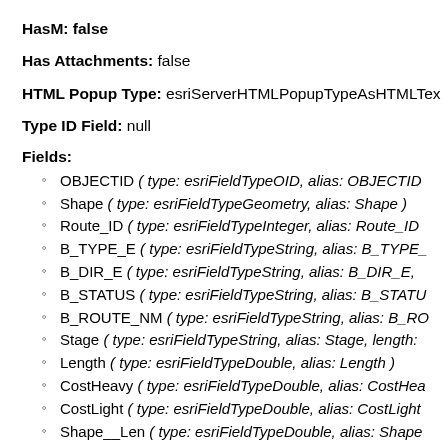HasM: false
Has Attachments: false
HTML Popup Type: esriServerHTMLPopupTypeAsHTMLTex…
Type ID Field: null
Fields:
OBJECTID ( type: esriFieldTypeOID, alias: OBJECTID…
Shape ( type: esriFieldTypeGeometry, alias: Shape )
Route_ID ( type: esriFieldTypeInteger, alias: Route_ID…
B_TYPE_E ( type: esriFieldTypeString, alias: B_TYPE_…
B_DIR_E ( type: esriFieldTypeString, alias: B_DIR_E, …
B_STATUS ( type: esriFieldTypeString, alias: B_STATU…
B_ROUTE_NM ( type: esriFieldTypeString, alias: B_RO…
Stage ( type: esriFieldTypeString, alias: Stage, length:…
Length ( type: esriFieldTypeDouble, alias: Length )
CostHeavy ( type: esriFieldTypeDouble, alias: CostHea…
CostLight ( type: esriFieldTypeDouble, alias: CostLight…
Shape__Len ( type: esriFieldTypeDouble, alias: Shape…
Class ( type: esriFieldTypeString, alias: Class, length: …
Name ( type: esriFieldTypeString, alias: Name, length:…
Difficulty ( type: esriFieldTypeString, alias: Difficulty, le…